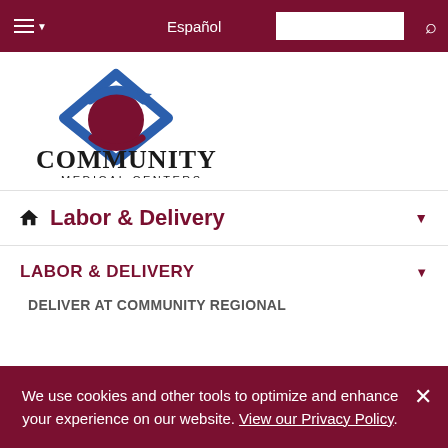Español [search box] [search icon]
[Figure (logo): Community Medical Centers logo — blue and dark red diamond with letter C shape, text COMMUNITY MEDICAL CENTERS below]
Labor & Delivery
LABOR & DELIVERY
DELIVER AT COMMUNITY REGIONAL
We use cookies and other tools to optimize and enhance your experience on our website. View our Privacy Policy.